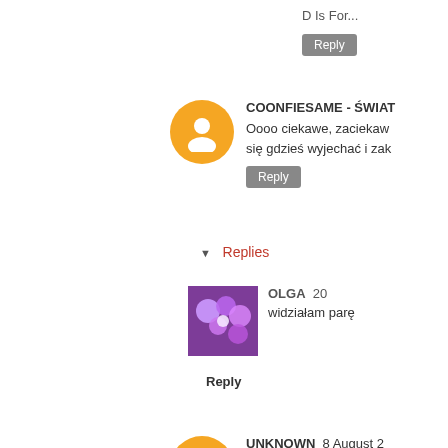D Is For...
Reply
COONFIESAME - ŚWIAT
Oooo ciekawe, zaciekaw się gdzieś wyjechać i zak
Reply
Replies
OLGA  20
widziałam parę
Reply
UNKNOWN  8 August 2
Uwielbiam ten żel do twa
Reply
UNKNOWN  8 August 2